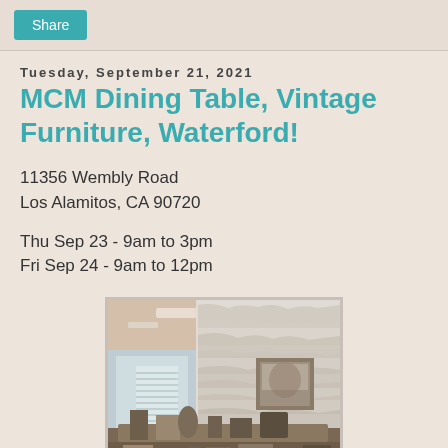Share
Tuesday, September 21, 2021
MCM Dining Table, Vintage Furniture, Waterford!
11356 Wembly Road
Los Alamitos, CA 90720
Thu Sep 23 - 9am to 3pm
Fri Sep 24 - 9am to 12pm
[Figure (photo): Interior room photo showing a living/dining area with a stone accent wall, framed artwork, furniture items, and miscellaneous items on display for an estate sale.]